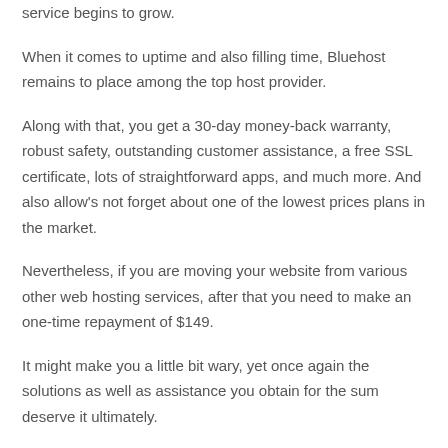service begins to grow.
When it comes to uptime and also filling time, Bluehost remains to place among the top host provider.
Along with that, you get a 30-day money-back warranty, robust safety, outstanding customer assistance, a free SSL certificate, lots of straightforward apps, and much more. And also allow's not forget about one of the lowest prices plans in the market.
Nevertheless, if you are moving your website from various other web hosting services, after that you need to make an one-time repayment of $149.
It might make you a little bit wary, yet once again the solutions as well as assistance you obtain for the sum deserve it ultimately.
In general, Bluehost provides among the very best webhosting options on the market as well as gets my full endorsement.